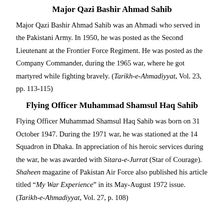Major Qazi Bashir Ahmad Sahib
Major Qazi Bashir Ahmad Sahib was an Ahmadi who served in the Pakistani Army. In 1950, he was posted as the Second Lieutenant at the Frontier Force Regiment. He was posted as the Company Commander, during the 1965 war, where he got martyred while fighting bravely. (Tarikh-e-Ahmadiyyat, Vol. 23, pp. 113-115)
Flying Officer Muhammad Shamsul Haq Sahib
Flying Officer Muhammad Shamsul Haq Sahib was born on 31 October 1947. During the 1971 war, he was stationed at the 14 Squadron in Dhaka. In appreciation of his heroic services during the war, he was awarded with Sitara-e-Jurrat (Star of Courage). Shaheen magazine of Pakistan Air Force also published his article titled “My War Experience” in its May-August 1972 issue. (Tarikh-e-Ahmadiyyat, Vol. 27, p. 108)